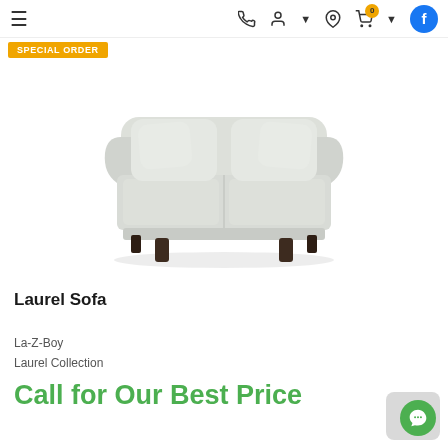≡  [phone] [person+] [location] [cart 0] [facebook]
SPECIAL ORDER
[Figure (photo): A light grey/cream colored La-Z-Boy Laurel sofa with rolled arms, two seat cushions, two back pillows, and dark tapered wooden legs, shown on white background.]
Laurel Sofa
La-Z-Boy
Laurel Collection
Call for Our Best Price